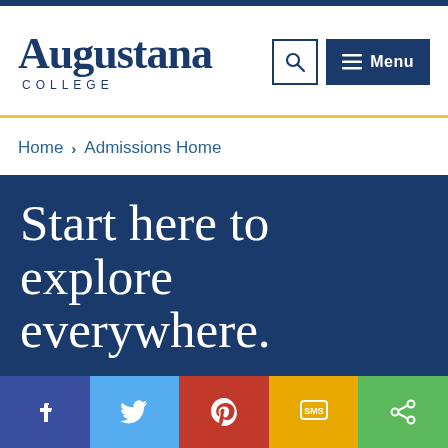Augustana COLLEGE
Home › Admissions Home
Start here to explore everywhere.
Don't just dream about who you want to be. Visit Augustana and find out how we can help you get there.
[Figure (other): Social media bar with Facebook, Twitter, Pinterest, SMS, and Share icons]